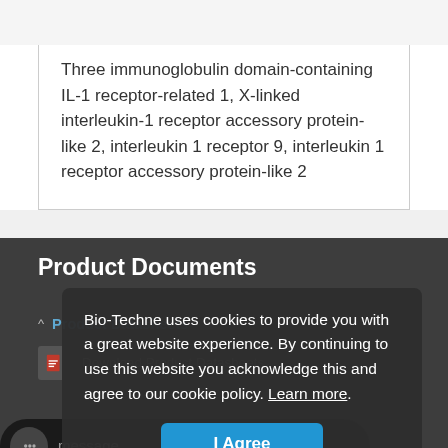Three immunoglobulin domain-containing IL-1 receptor-related 1, X-linked interleukin-1 receptor accessory protein-like 2, interleukin 1 receptor 9, interleukin 1 receptor accessory protein-like 2
Product Documents
Product Datasheets
Download Product Datasheets
COA
Bio-Techne uses cookies to provide you with a great website experience. By continuing to use this website you acknowledge this and agree to our cookie policy. Learn more.